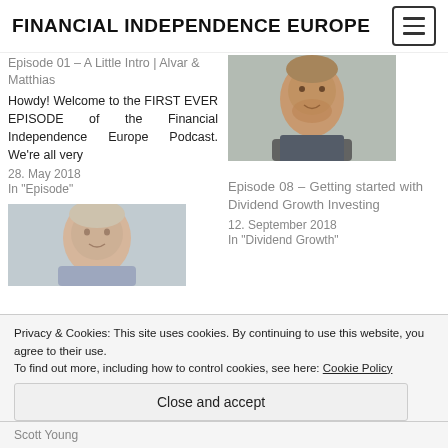FINANCIAL INDEPENDENCE EUROPE
Episode 01 – A Little Intro | Alvar & Matthias
Howdy! Welcome to the FIRST EVER EPISODE of the Financial Independence Europe Podcast. We're all very
28. May 2018
In "Episode"
[Figure (photo): Portrait photo of a young man with reddish beard wearing a blazer]
Episode 08 – Getting started with Dividend Growth Investing
12. September 2018
In "Dividend Growth"
[Figure (photo): Portrait photo of a smiling man outdoors in a purple shirt]
Privacy & Cookies: This site uses cookies. By continuing to use this website, you agree to their use. To find out more, including how to control cookies, see here: Cookie Policy
Close and accept
Scott Young